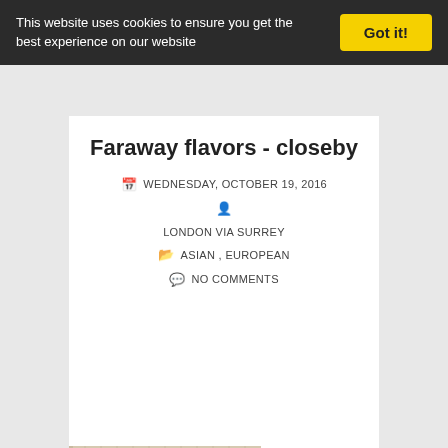This website uses cookies to ensure you get the best experience on our website
Got it!
Faraway flavors - closeby
WEDNESDAY, OCTOBER 19, 2016
LONDON VIA SURREY
ASIAN , EUROPEAN
NO COMMENTS
[Figure (photo): Food platter on wooden cutting boards showing grilled meats, skewers, rice, and flatbread]
Some of the best ethnic food is not faraw